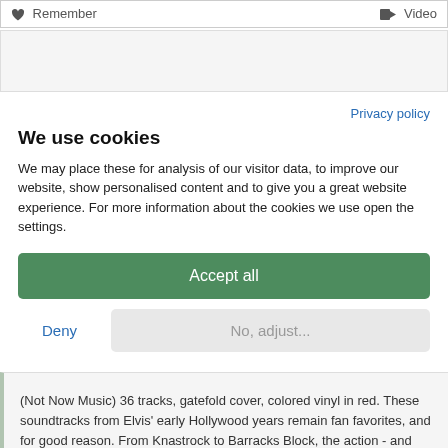Remember   Video
Privacy policy
We use cookies
We may place these for analysis of our visitor data, to improve our website, show personalised content and to give you a great website experience. For more information about the cookies we use open the settings.
Accept all
Deny
No, adjust...
(Not Now Music) 36 tracks, gatefold cover, colored vinyl in red. These soundtracks from Elvis' early Hollywood years remain fan favorites, and for good reason. From Knastrock to Barracks Block, the action - and the music - never stops.